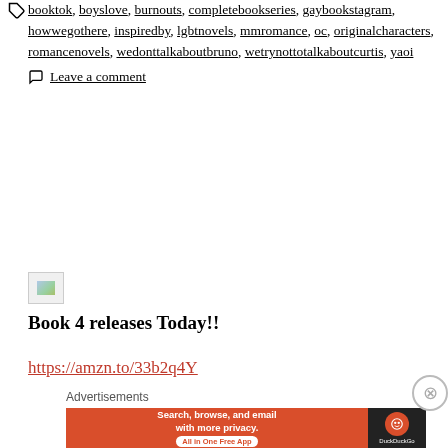booktok, boyslove, burnouts, completebookseries, gaybookstagram, howwegothere, inspiredby, lgbtnovels, mmromance, oc, originalcharacters, romancenovels, wedonttalkaboutbruno, wetrynottotalkaboutcurtis, yaoi
Leave a comment
[Figure (photo): Broken image placeholder thumbnail]
Book 4 releases Today!!
https://amzn.to/33b2q4Y
Advertisements
[Figure (screenshot): DuckDuckGo advertisement banner: 'Search, browse, and email with more privacy. All in One Free App' with DuckDuckGo logo on dark background]